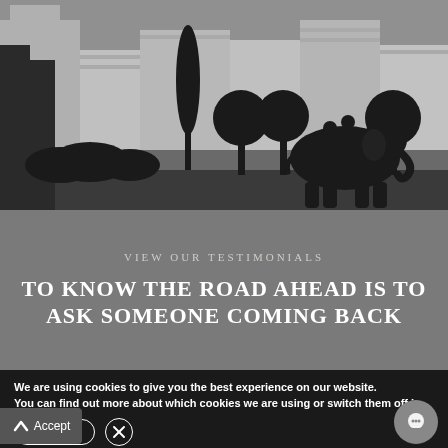[Figure (illustration): Silhouette scene of Indian cityscape with buildings, trees, and an elephant with two riders on its back, rendered in dark grey/black against a medium grey background]
VIEW OUR TESTIMONIALS
TO KNOW THE ROAD AHEAD IS TO ASK SOMEONE COMING BACK
We are using cookies to give you the best experience on our website.
You can find out more about which cookies we are using or switch them off in settings.